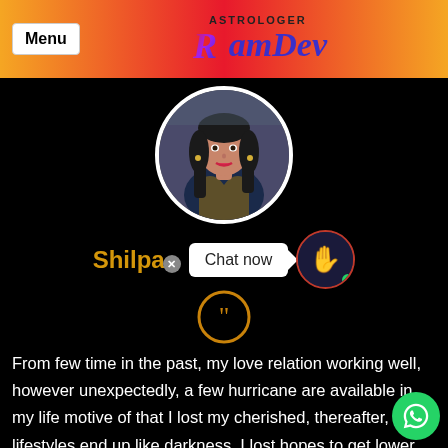Menu | ASTROLOGER RamDev
[Figure (photo): Circular profile photo of a woman with long dark hair wearing a dark top, on black background]
Shilpa
Chat now
[Figure (illustration): Orange quote mark icon inside a circle]
From few time in the past, my love relation working well, however unexpectedly, a few hurricane are available in my life motive of that I lost my cherished, thereafter, my lifestyles end up like darkness, I lost hopes to get lower back together, but once I heard about Pandith adi then consulted with him. Th provided me remedies by which, now i am with my cherished